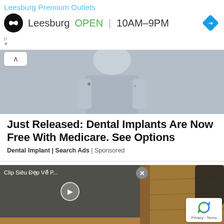Leesburg Premium Outlets
Leesburg OPEN 10AM–9PM
[Figure (screenshot): Photo of a person wearing a grey shirt, cropped torso view]
Just Released: Dental Implants Are Now Free With Medicare. See Options
Dental Implant | Search Ads | Sponsored
[Figure (screenshot): Video player overlay showing 'Clip Siêu Đẹp Về P...' with play button, overlaid on a textured sandy/stone wall background. reCAPTCHA badge visible in lower right.]